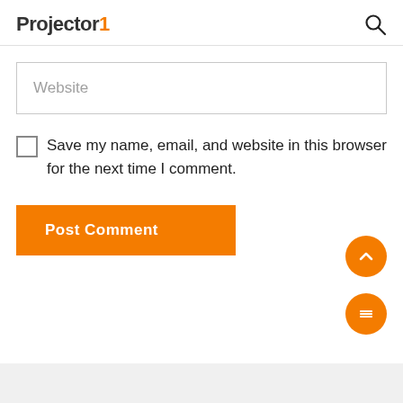Projector1
Website
Save my name, email, and website in this browser for the next time I comment.
Post Comment